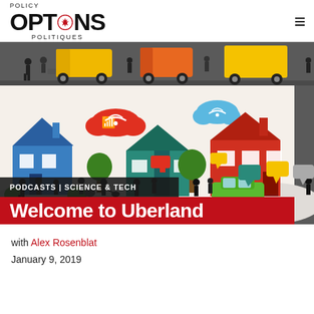POLICY OPTIONS POLITIQUES
[Figure (illustration): Colorful illustrated scene of a suburban neighborhood with houses in blue, teal, orange/red; people walking dogs, pushing strollers, using phones; delivery trucks and vehicles on roads; Wi-Fi cloud icons over the scene; people with speech bubbles using devices.]
PODCASTS | SCIENCE & TECH
Welcome to Uberland
with Alex Rosenblat
January 9, 2019